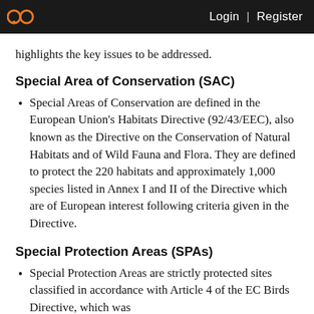Login | Register
highlights the key issues to be addressed.
Special Area of Conservation (SAC)
Special Areas of Conservation are defined in the European Union's Habitats Directive (92/43/EEC), also known as the Directive on the Conservation of Natural Habitats and of Wild Fauna and Flora. They are defined to protect the 220 habitats and approximately 1,000 species listed in Annex I and II of the Directive which are of European interest following criteria given in the Directive.
Special Protection Areas (SPAs)
Special Protection Areas are strictly protected sites classified in accordance with Article 4 of the EC Birds Directive, which was